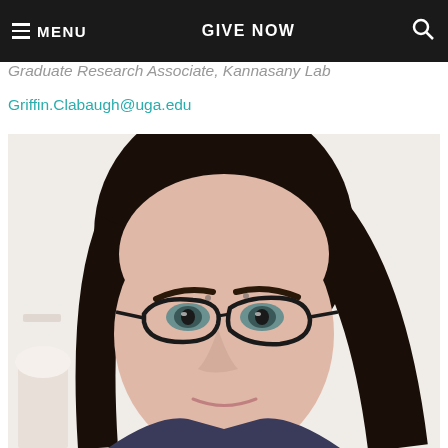≡ MENU   GIVE NOW   🔍
Graduate Research Associate, Kannasany Lab
Griffin.Clabaugh@uga.edu
[Figure (photo): Headshot photo of a young woman with dark hair pulled back, wearing dark-framed cat-eye glasses, looking slightly to the side with a slight smile. Background appears to be a neutral indoor setting with a lamp visible in the lower left.]